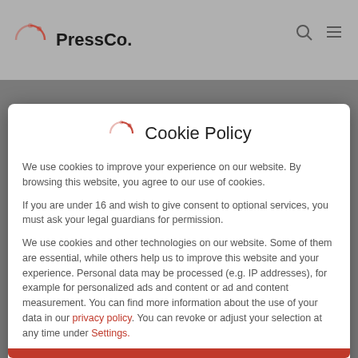PressCo.
Cookie Policy
We use cookies to improve your experience on our website. By browsing this website, you agree to our use of cookies.
If you are under 16 and wish to give consent to optional services, you must ask your legal guardians for permission.
We use cookies and other technologies on our website. Some of them are essential, while others help us to improve this website and your experience. Personal data may be processed (e.g. IP addresses), for example for personalized ads and content or ad and content measurement. You can find more information about the use of your data in our privacy policy. You can revoke or adjust your selection at any time under Settings.
Essential
Statistics
Externe Medien